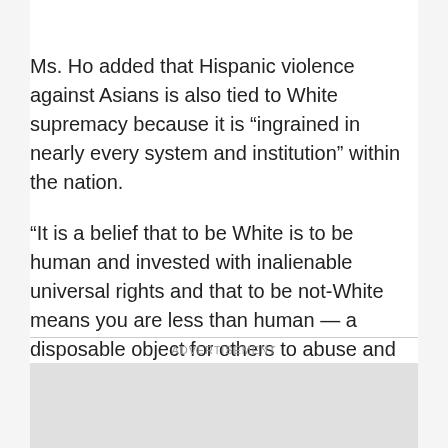Ms. Ho added that Hispanic violence against Asians is also tied to White supremacy because it is “ingrained in nearly every system and institution” within the nation.
“It is a belief that to be White is to be human and invested with inalienable universal rights and that to be not-White means you are less than human — a disposable object for others to abuse and misuse,” the Asian American Studies professor continued.
ADVERTISEMENT